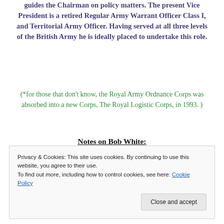guides the Chairman on policy matters. The present Vice President is a retired Regular Army Warrant Officer Class I, and Territorial Army Officer. Having served at all three levels of the British Army he is ideally placed to undertake this role.
(*for those that don't know, the Royal Army Ordnance Corps was absorbed into a new Corps, The Royal Logistic Corps, in 1993. )
Notes on Bob White:
Conductor Robert James WHITE...
Privacy & Cookies: This site uses cookies. By continuing to use this website, you agree to their use.
To find out more, including how to control cookies, see here: Cookie Policy
Close and accept